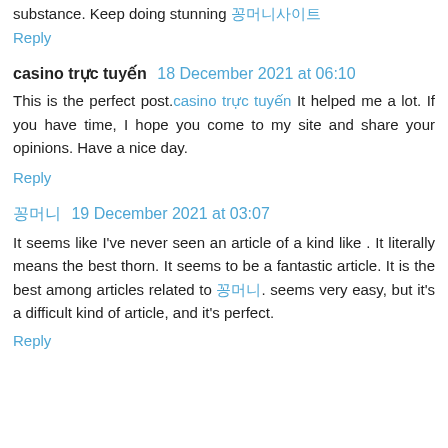substance. Keep doing stunning 꽁머니사이트
Reply
casino trực tuyến  18 December 2021 at 06:10
This is the perfect post.casino trực tuyến It helped me a lot. If you have time, I hope you come to my site and share your opinions. Have a nice day.
Reply
꽁머니  19 December 2021 at 03:07
It seems like I've never seen an article of a kind like . It literally means the best thorn. It seems to be a fantastic article. It is the best among articles related to 꽁머니. seems very easy, but it's a difficult kind of article, and it's perfect.
Reply